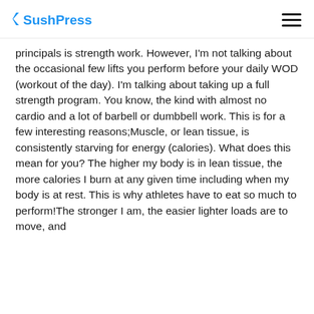SushPress [logo] [menu icon]
principals is strength work. However, I'm not talking about the occasional few lifts you perform before your daily WOD (workout of the day). I'm talking about taking up a full strength program. You know, the kind with almost no cardio and a lot of barbell or dumbbell work. This is for a few interesting reasons;Muscle, or lean tissue, is consistently starving for energy (calories). What does this mean for you? The higher my body is in lean tissue, the more calories I burn at any given time including when my body is at rest. This is why athletes have to eat so much to perform!The stronger I am, the easier lighter loads are to move, and